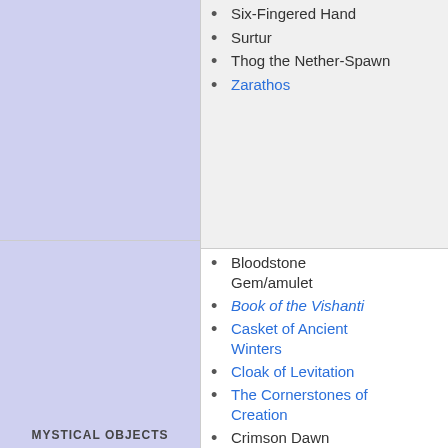Six-Fingered Hand
Surtur
Thog the Nether-Spawn
Zarathos
Bloodstone Gem/amulet
Book of the Vishanti
Casket of Ancient Winters
Cloak of Levitation
The Cornerstones of Creation
Crimson Dawn
Jarnbjorn
Crimson Gem of Cyttorak
Darkhold
Destroyer
MYSTICAL OBJECTS